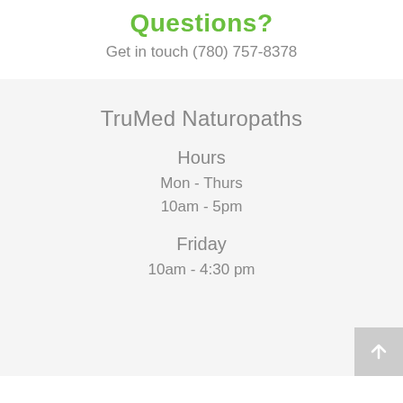Questions?
Get in touch (780) 757-8378
TruMed Naturopaths
Hours
Mon - Thurs
10am - 5pm
Friday
10am - 4:30 pm